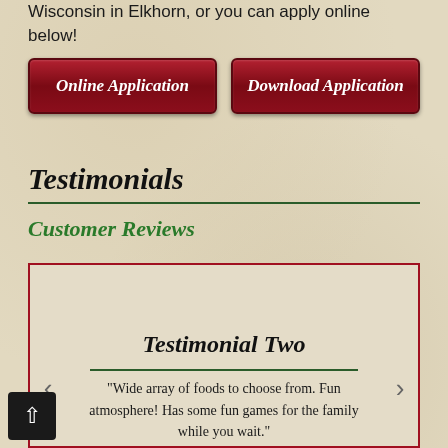Wisconsin in Elkhorn, or you can apply online below!
[Figure (other): Two dark red buttons labeled 'Online Application' and 'Download Application']
Testimonials
Customer Reviews
[Figure (other): Carousel testimonial box with left and right navigation arrows, showing 'Testimonial Two' with quote: "Wide array of foods to choose from. Fun atmosphere! Has some fun games for the family while you wait."]